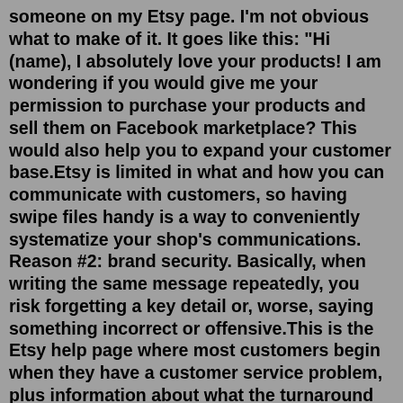someone on my Etsy page. I'm not obvious what to make of it. It goes like this: "Hi (name), I absolutely love your products! I am wondering if you would give me your permission to purchase your products and sell them on Facebook marketplace? This would also help you to expand your customer base.Etsy is limited in what and how you can communicate with customers, so having swipe files handy is a way to conveniently systematize your shop's communications. Reason #2: brand security. Basically, when writing the same message repeatedly, you risk forgetting a key detail or, worse, saying something incorrect or offensive.This is the Etsy help page where most customers begin when they have a customer service problem, plus information about what the turnaround time is for helpful responses and how to find assistance for your specific problem. If you are looking for Etsy's best customer help page or faq or forum, this is the best entry point according to 20,316 ...Some of the popular messages available on